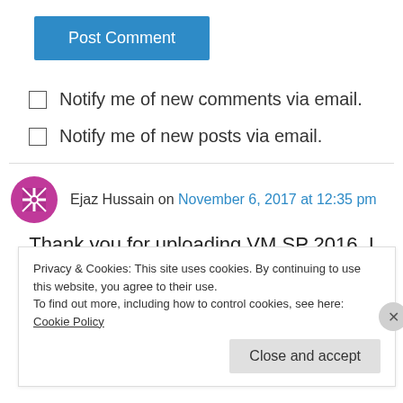[Figure (other): Blue 'Post Comment' button]
Notify me of new comments via email.
Notify me of new posts via email.
Ejaz Hussain on November 6, 2017 at 12:35 pm
Thank you for uploading VM SP 2016. I think you forgot to upload Readme.txt file in your
Privacy & Cookies: This site uses cookies. By continuing to use this website, you agree to their use.
To find out more, including how to control cookies, see here: Cookie Policy